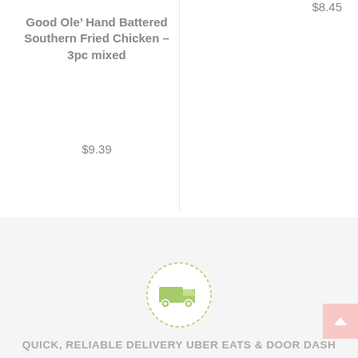$8.45
Good Ole’ Hand Battered Southern Fried Chicken – 3pc mixed
$9.39
[Figure (illustration): Green delivery truck icon inside a dashed circular border on a light gray background]
QUICK, RELIABLE DELIVERY UBER EATS & DOOR DASH